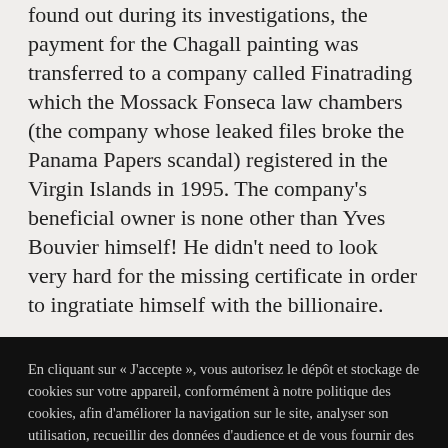found out during its investigations, the payment for the Chagall painting was transferred to a company called Finatrading which the Mossack Fonseca law chambers (the company whose leaked files broke the Panama Papers scandal) registered in the Virgin Islands in 1995. The company's beneficial owner is none other than Yves Bouvier himself! He didn't need to look very hard for the missing certificate in order to ingratiate himself with the billionaire.
En cliquant sur « J'accepte », vous autorisez le dépôt et stockage de cookies sur votre appareil, conformément à notre politique des cookies, afin d'améliorer la navigation sur le site, analyser son utilisation, recueillir des données d'audience et de vous fournir des publicités ciblées. Pour savoir plus et pour modifier les cookies déposés sur votre appareil, cliquez sur le bouton «Gestion des cookies»